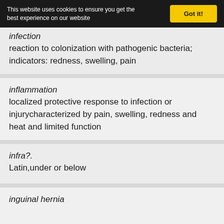This website uses cookies to ensure you get the best experience on our website  Got it!
infection
reaction to colonization with pathogenic bacteria; indicators: redness, swelling, pain
inflammation
localized protective response to infection or injurycharacterized by pain, swelling, redness and heat and limited function
infra?.
Latin,under or below
inguinal hernia